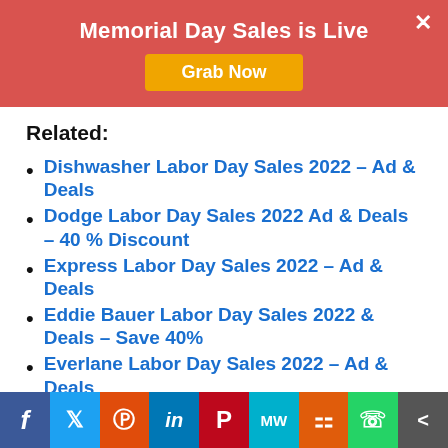Memorial Day Sales is Live
Grab Now
Related:
Dishwasher Labor Day Sales 2022 – Ad & Deals
Dodge Labor Day Sales 2022 Ad & Deals – 40 % Discount
Express Labor Day Sales 2022 – Ad & Deals
Eddie Bauer Labor Day Sales 2022 & Deals – Save 40%
Everlane Labor Day Sales 2022 – Ad & Deals